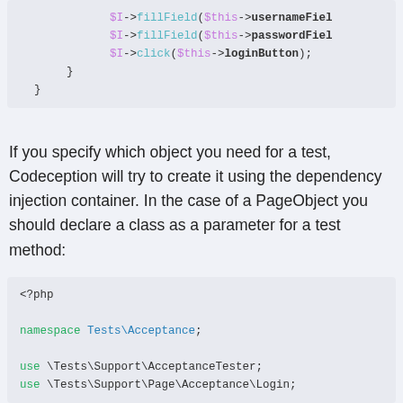[Figure (screenshot): Code block showing PHP code with fillField and click method calls, closing braces]
If you specify which object you need for a test, Codeception will try to create it using the dependency injection container. In the case of a PageObject you should declare a class as a parameter for a test method:
[Figure (screenshot): PHP code block showing namespace Tests\Acceptance, use \Tests\Support\AcceptanceTester, use \Tests\Support\Page\Acceptance\Login]